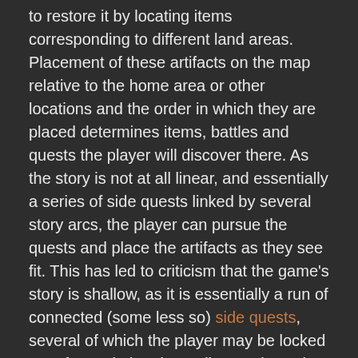to restore it by locating items corresponding to different land areas. Placement of these artifacts on the map relative to the home area or other locations and the order in which they are placed determines items, battles and quests the player will discover there. As the story is not at all linear, and essentially a series of side quests linked by several story arcs, the player can pursue the quests and place the artifacts as they see fit. This has led to criticism that the game's story is shallow, as it is essentially a run of connected (some less so) side quests, several of which the player may be locked out of completing depending on the order in which certain story arcs are pursued.
Gameplay
Combat
There are several elements of play that define Legend of Mana, most notably that its combat takes place in real